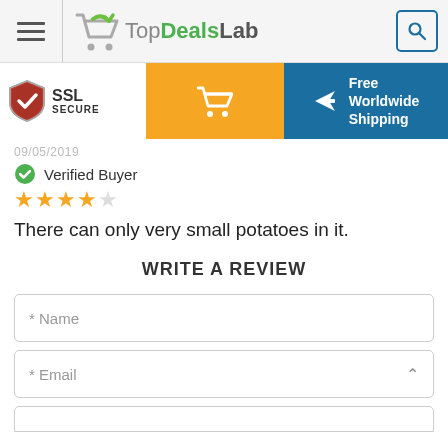TopDealsLab
[Figure (infographic): SSL Secure badge, orange shopping cart button, and Free Worldwide Shipping banner]
Verified Buyer
★★★★☆ (4 out of 5 stars)
There can only very small potatoes in it.
WRITE A REVIEW
* Name
* Email